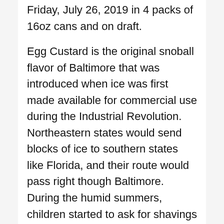Friday, July 26, 2019 in 4 packs of 16oz cans and on draft.
Egg Custard is the original snoball flavor of Baltimore that was introduced when ice was first made available for commercial use during the Industrial Revolution. Northeastern states would send blocks of ice to southern states like Florida, and their route would pass right though Baltimore. During the humid summers, children started to ask for shavings of the ice to cool them off. Their mothers then decided to start making syrups to flavor the ice by using a recipe of vanilla, sugar, and eggs. Today, the flavor is just named Egg Custard and is simply a golden colored vanilla syrup (it does not taste like eggs).